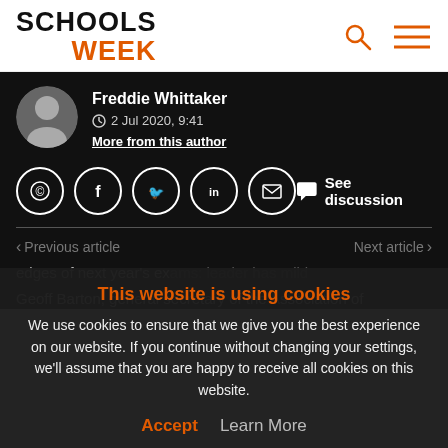SCHOOLS WEEK
Freddie Whittaker
2 Jul 2020, 9:41
More from this author
See discussion
Previous article   Next article
This website is using cookies
We use cookies to ensure that we give you the best experience on our website. If you continue without changing your settings, we'll assume that you are happy to receive all cookies on this website.
Accept   Learn More
edges of next year's exams: leader has mild
Geoff Barton, general secretary of the Association of School and College Leaders, who represents most...